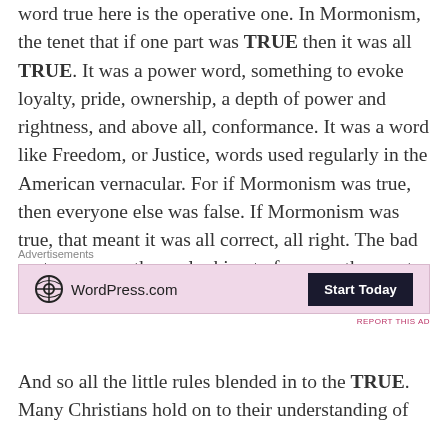word true here is the operative one. In Mormonism, the tenet that if one part was TRUE then it was all TRUE. It was a power word, something to evoke loyalty, pride, ownership, a depth of power and rightness, and above all, conformance. It was a word like Freedom, or Justice, words used regularly in the American vernacular. For if Mormonism was true, then everyone else was false. If Mormonism was true, that meant it was all correct, all right. The bad parts were worth overlooking to focus on the greater good, because of TRUTH.
[Figure (other): WordPress.com advertisement banner with pink background, WordPress logo and 'Start Today' button]
And so all the little rules blended in to the TRUE. Many Christians hold on to their understanding of